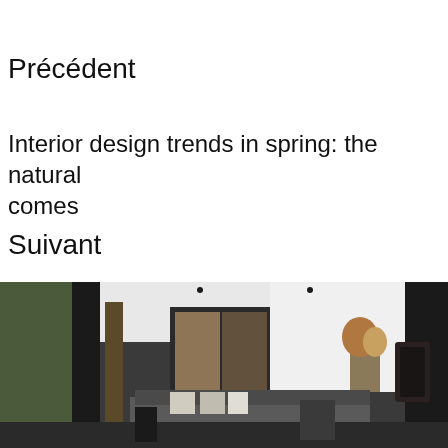Précédent
Interior design trends in spring: the natural comes
Suivant
[Figure (photo): Interior photo of a modern dark-toned living space with dark columns, glass panels, a tree element, pendant light fixture, sofa with cushions, and a hanging fireplace on the right side. Natural light comes from the left through large windows with greenery outside.]